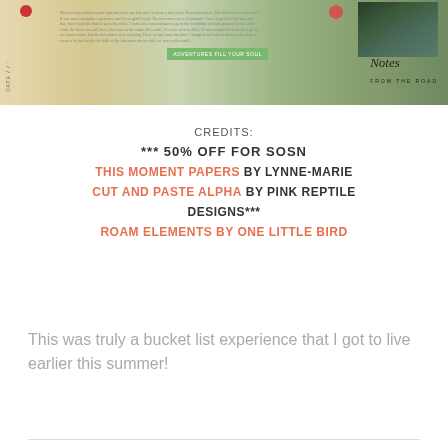[Figure (photo): Scrapbook layout page showing a travel journal/diary page with handwritten text, a castle photo on the right, decorative elements including a red circle, flowers, a green banner reading 'ADVENTURES FILL YOUR SOUL', and cursive 'Notes FROM THE ROAD' text. Date label on the left side.]
CREDITS:
*** 50% OFF FOR SOSN
THIS MOMENT PAPERS BY LYNNE-MARIE
CUT AND PASTE ALPHA BY PINK REPTILE DESIGNS***
ROAM ELEMENTS BY ONE LITTLE BIRD
This was truly a bucket list experience that I got to live earlier this summer!